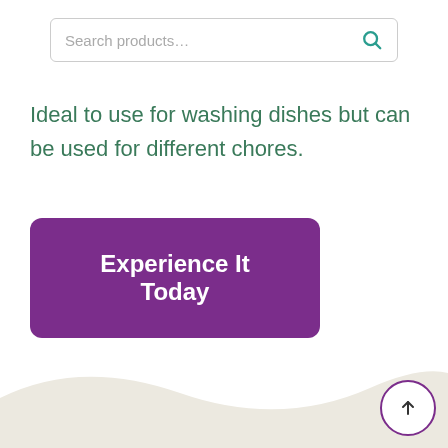[Figure (screenshot): Search bar with placeholder text 'Search products...' and a teal magnifying glass icon on the right]
Ideal to use for washing dishes but can be used for different chores.
[Figure (other): Purple rounded rectangle button with white bold text 'Experience It Today']
[Figure (illustration): Wavy decorative footer shape in light beige/cream color at the bottom of the page, with a circular back-to-top arrow button (purple border, white background) in the bottom right corner]